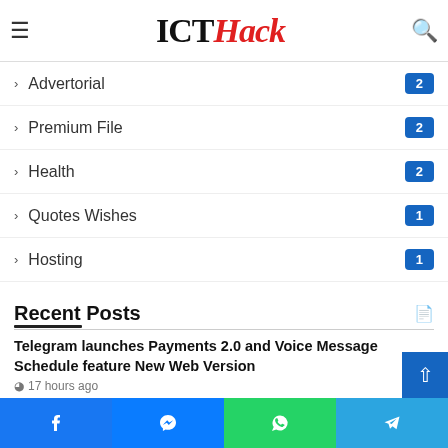ICTHack
Advertorial 2
Premium File 2
Health 2
Quotes Wishes 1
Hosting 1
Recent Posts
Telegram launches Payments 2.0 and Voice Message Schedule feature New Web Version
17 hours ago
iOS 14.5 Download: Important Updates for iPhone and iPad How to Download
Facebook Messenger WhatsApp Telegram